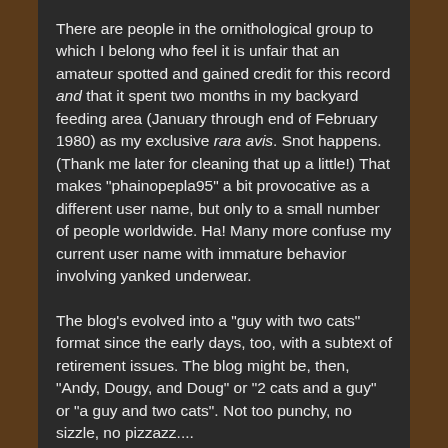There are people in the ornithological group to which I belong who feel it is unfair that an amateur spotted and gained credit for this record and that it spent two months in my backyard feeding area (January through end of February 1980) as my exclusive rara avis. Snot happens. (Thank me later for cleaning that up a little!) That makes "phainopepla95" a bit provocative as a different user name, but only to a small number of people worldwide. Ha! Many more confuse my current user name with immature behavior involving yanked underwear.
The blog's evolved into a "guy with two cats" format since the early days, too, with a subtext of retirement issues. The blog might be, then, "Andy, Dougy, and Doug" or "2 cats and a guy" or "a guy and two cats". Not too punchy, no sizzle, no pizzazz....
How about "birdman and the boys – surviving